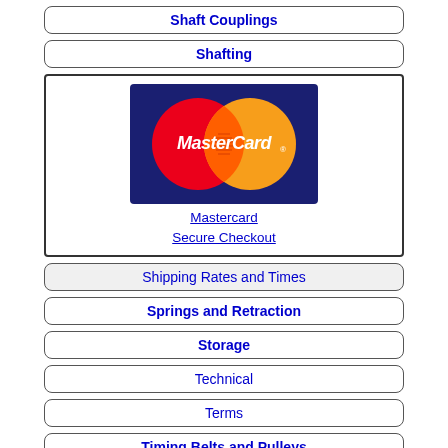Shaft Couplings
Shafting
[Figure (logo): MasterCard logo with red and orange overlapping circles and 'MasterCard' text on blue background, with 'Mastercard Secure Checkout' link below]
Shipping Rates and Times
Springs and Retraction
Storage
Technical
Terms
Timing Belts and Pulleys
To...